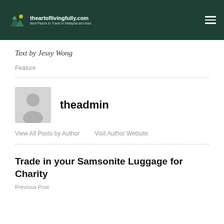theartoflivingfully.com — Best Places to Travel in Malaysia and Asia
Text by Jessy Wong
Feature
theadmin
View All Posts by Author    Visit Author Website
Trade in your Samsonite Luggage for Charity
Previous Post